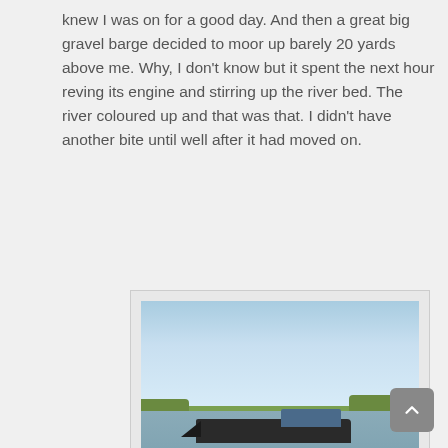knew I was on for a good day. And then a great big gravel barge decided to moor up barely 20 yards above me. Why, I don't know but it spent the next hour reving its engine and stirring up the river bed. The river coloured up and that was that. I didn't have another bite until well after it had moved on.
[Figure (photo): A large gravel barge travelling along a river with green vegetation on both banks and a clear blue sky above. The barge is dark-coloured with a blue cabin structure.]
When I say a 'barge' I mean a B-A-R-G-E!!!!!